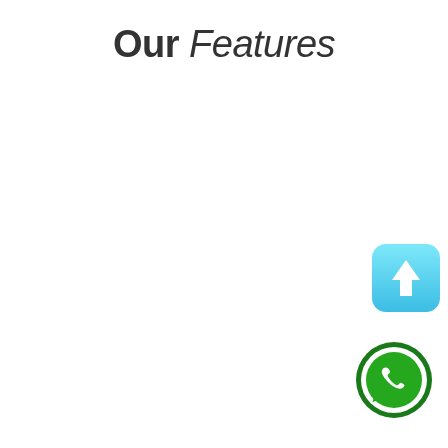Our Features
[Figure (illustration): Blue rounded square button with white upward arrow (scroll-to-top button), positioned at bottom right]
[Figure (logo): WhatsApp icon: green circle with white phone/chat bubble logo inside, positioned at bottom right below the blue button]